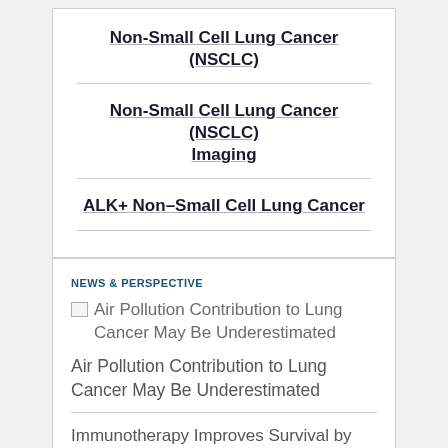Non-Small Cell Lung Cancer (NSCLC)
Non-Small Cell Lung Cancer (NSCLC) Imaging
ALK+ Non–Small Cell Lung Cancer
NEWS & PERSPECTIVE
[Figure (photo): Thumbnail image for article: Air Pollution Contribution to Lung Cancer May Be Underestimated]
Air Pollution Contribution to Lung Cancer May Be Underestimated
Air Pollution Contribution to Lung Cancer May Be Underestimated
Immunotherapy Improves Survival by 10%